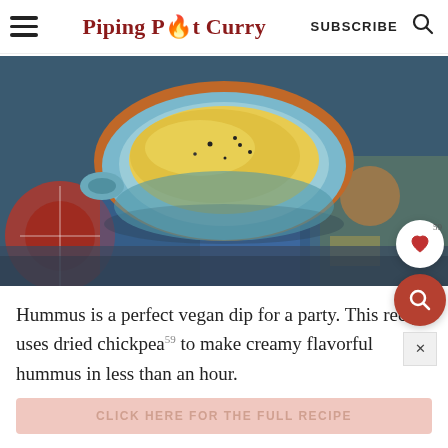Piping Pot Curry | SUBSCRIBE
[Figure (photo): A blue ceramic bowl filled with yellow creamy hummus topped with black pepper, placed on a colorful patterned cloth.]
Hummus is a perfect vegan dip for a party. This recipe uses dried chickpeas to make creamy flavorful hummus in less than an hour.
CLICK HERE FOR THE FULL RECIPE